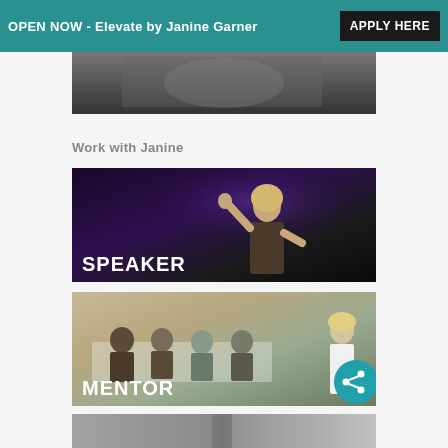OPEN NOW - Elevate by Janine Garner | APPLY HERE
[Figure (photo): Partial top image, cropped portrait/pattern photo]
Work with Janine
[Figure (photo): Photo of Janine Garner on stage as a speaker, with SPEAKER label overlay]
[Figure (photo): Photo of Janine Garner presenting to a group as a mentor, with MENTOR label overlay and share button]
[Figure (photo): Partial bottom image strip, cropped]